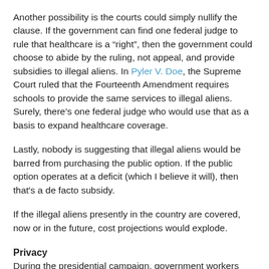Another possibility is the courts could simply nullify the clause. If the government can find one federal judge to rule that healthcare is a “right”, then the government could choose to abide by the ruling, not appeal, and provide subsidies to illegal aliens. In Pyler V. Doe, the Supreme Court ruled that the Fourteenth Amendment requires schools to provide the same services to illegal aliens. Surely, there’s one federal judge who would use that as a basis to expand healthcare coverage.
Lastly, nobody is suggesting that illegal aliens would be barred from purchasing the public option. If the public option operates at a deficit (which I believe it will), then that’s a de facto subsidy.
If the illegal aliens presently in the country are covered, now or in the future, cost projections would explode.
Privacy
During the presidential campaign, government workers illegally released damaging information on Joe the Plumber to discredit a private citizen who had unwittingly entered the